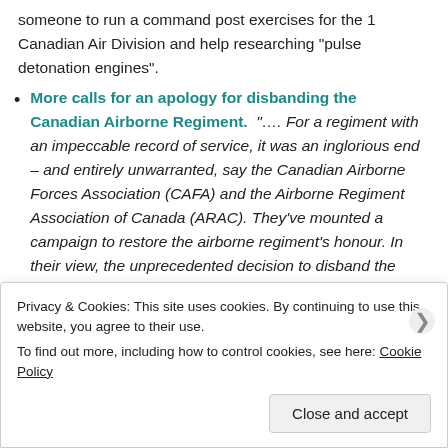someone to run a command post exercises for the 1 Canadian Air Division and help researching “pulse detonation engines”.
More calls for an apology for disbanding the Canadian Airborne Regiment. “…. For a regiment with an impeccable record of service, it was an inglorious end – and entirely unwarranted, say the Canadian Airborne Forces Association (CAFA) and the Airborne Regiment Association of Canada (ARAC). They’ve mounted a campaign to restore the airborne regiment’s honour. In their view, the unprecedented decision to disband the airborne regiment”
Privacy & Cookies: This site uses cookies. By continuing to use this website, you agree to their use. To find out more, including how to control cookies, see here: Cookie Policy
Close and accept